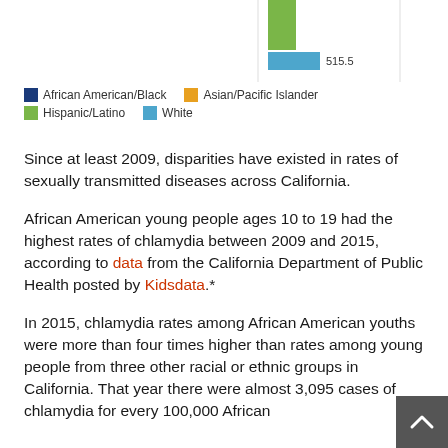[Figure (bar-chart): Partial view of a bar chart showing chlamydia rates by race/ethnicity. Visible bar segment labeled 515.5 in blue (White). Chart is cropped at top.]
[Figure (other): Legend for bar chart: African American/Black (dark blue), Asian/Pacific Islander (orange/yellow), Hispanic/Latino (green), White (light blue)]
Since at least 2009, disparities have existed in rates of sexually transmitted diseases across California.
African American young people ages 10 to 19 had the highest rates of chlamydia between 2009 and 2015, according to data from the California Department of Public Health posted by Kidsdata.*
In 2015, chlamydia rates among African American youths were more than four times higher than rates among young people from three other racial or ethnic groups in California. That year there were almost 3,095 cases of chlamydia for every 100,000 African